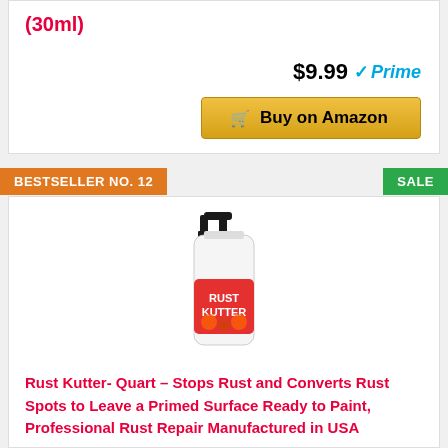(30ml)
$9.99 Prime
Buy on Amazon
BESTSELLER NO. 12
SALE
[Figure (photo): Rust Kutter spray bottle with trigger nozzle and red label]
Rust Kutter- Quart – Stops Rust and Converts Rust Spots to Leave a Primed Surface Ready to Paint, Professional Rust Repair Manufactured in USA